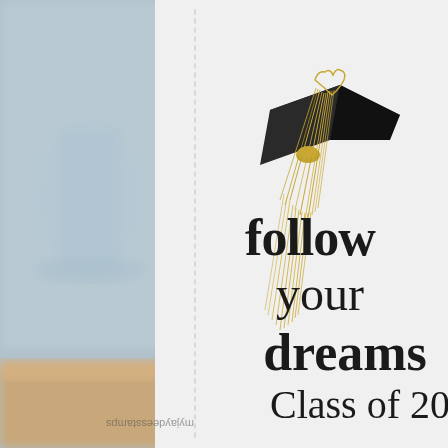[Figure (photo): A graduation card or sign photographed against a blurred background with glass jars and wooden shelving. The card/sign is white with a dashed border line running vertically. A black paper graduation cap with a gold tassel is attached at the upper portion. Text on the white card reads 'follow your dreams Class of 20...' (partially cropped). A watermark/logo is visible in the lower left corner reading 'myjaydees stamps' or similar, displayed upside down.]